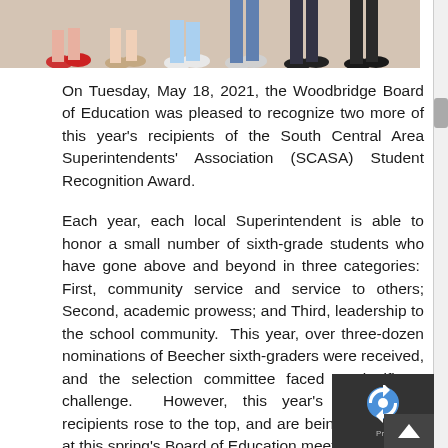[Figure (photo): Partial photo showing feet and lower legs of several people standing together, cropped at top of page]
On Tuesday, May 18, 2021, the Woodbridge Board of Education was pleased to recognize two more of this year's recipients of the South Central Area Superintendents' Association (SCASA) Student Recognition Award.
Each year, each local Superintendent is able to honor a small number of sixth-grade students who have gone above and beyond in three categories:  First, community service and service to others; Second, academic prowess; and Third, leadership to the school community.  This year, over three-dozen nominations of Beecher sixth-graders were received, and the selection committee faced a significant challenge.  However, this year's final award recipients rose to the top, and are being recognized at this spring's Board of Education meetings.
On April 21, Lilly Montiel and Miles Thames were recognized for several significant accomplishments.  Lilly Montiel lives in a beautiful home along with her little brother, mom, and dog, and has achieved many things in the past few